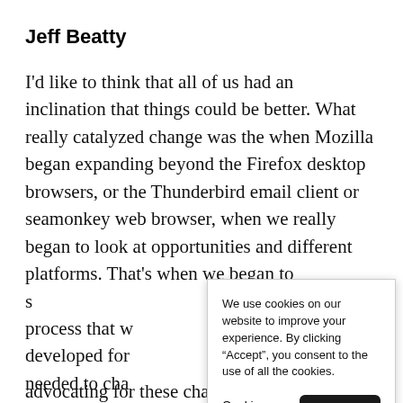Jeff Beatty
I'd like to think that all of us had an inclination that things could be better. What really catalyzed change was the when Mozilla began expanding beyond the Firefox desktop browsers, or the Thunderbird email client or seamonkey web browser, when we really began to look at opportunities and different platforms. That's when we began to s[...] process that w[...] developed for [...] needed to cha[...] continue to me[...] organization. [...] the main prop[...] advocating for these changes, in terms of like
We use cookies on our website to improve your experience. By clicking “Accept”, you consent to the use of all the cookies.
Cookie settings  Accept